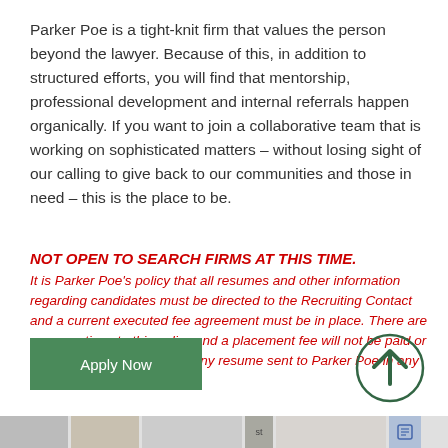Parker Poe is a tight-knit firm that values the person beyond the lawyer. Because of this, in addition to structured efforts, you will find that mentorship, professional development and internal referrals happen organically. If you want to join a collaborative team that is working on sophisticated matters – without losing sight of our calling to give back to our communities and those in need – this is the place to be.
NOT OPEN TO SEARCH FIRMS AT THIS TIME. It is Parker Poe's policy that all resumes and other information regarding candidates must be directed to the Recruiting Contact and a current executed fee agreement must be in place. There are no exceptions to this policy and a placement fee will not be paid or special priority assigned to any resume sent to Parker Poe in any other manner.
Apply Now